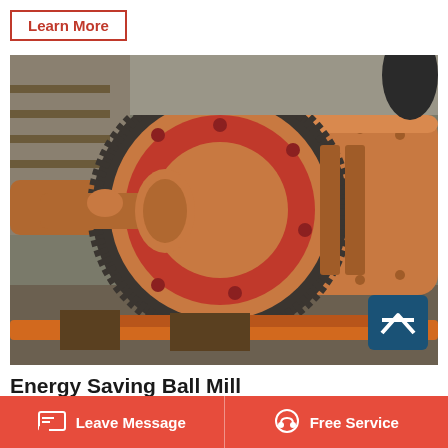Learn More
[Figure (photo): Close-up photo of an orange industrial ball mill with a large red-faced ring gear and cylindrical drum in a workshop setting]
Energy Saving Ball Mill
Energy saving Ball Mill zk – zk Products Made In
Leave Message   Free Service